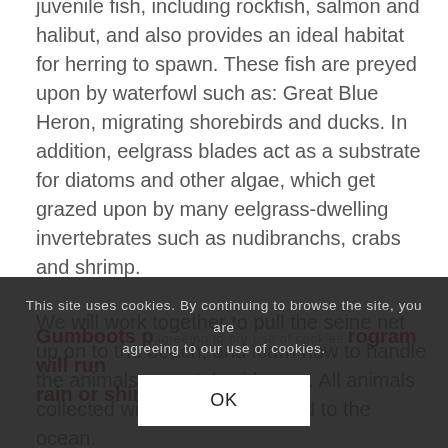juvenile fish, including rockfish, salmon and halibut, and also provides an ideal habitat for herring to spawn. These fish are preyed upon by waterfowl such as: Great Blue Heron, migrating shorebirds and ducks. In addition, eelgrass blades act as a substrate for diatoms and other algae, which get grazed upon by many eelgrass-dwelling invertebrates such as nudibranchs, crabs and shrimp.
We will work together to pull the seine net up on to the beach, and learn how to handle the animals we catch with care. All animals collected will be gently returned to the ocean.
Gumboots program will run rain or shine!
This site uses cookies. By continuing to browse the site, you are agreeing to our use of cookies.